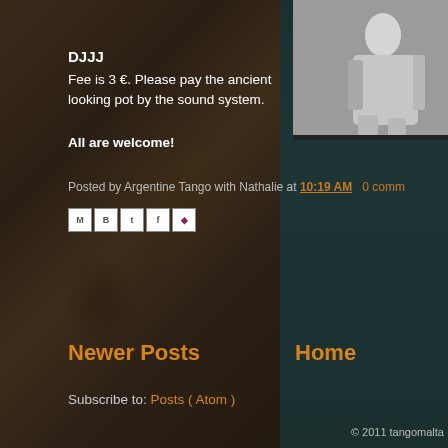[Figure (photo): Black and white photo of a person (appears to be a woman in a dress) in the top right corner]
DJJJ
Fee is 3 €. Please pay the ancient looking pot by the sound system.
All are welcome!
Posted by Argentine Tango with Nathalie at 10:19 AM   0 comm
[Figure (screenshot): Social sharing icon buttons: Email (M), BlogThis (B), Twitter (t), Facebook (f), Pinterest (p)]
Newer Posts
Home
Subscribe to: Posts ( Atom )
© 2011 tangomalta